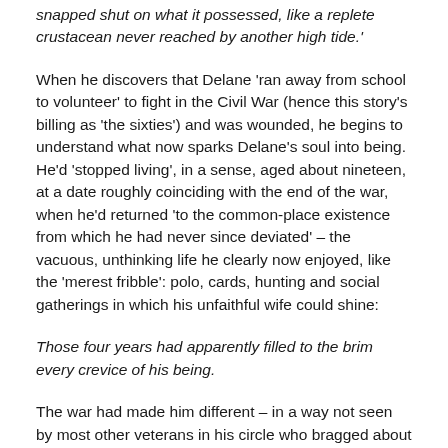snapped shut on what it possessed, like a replete crustacean never reached by another high tide.'
When he discovers that Delane 'ran away from school to volunteer' to fight in the Civil War (hence this story's billing as 'the sixties') and was wounded, he begins to understand what now sparks Delane's soul into being. He'd 'stopped living', in a sense, aged about nineteen, at a date roughly coinciding with the end of the war, when he'd returned 'to the common-place existence from which he had never since deviated' – the vacuous, unthinking life he clearly now enjoyed, like the 'merest fribble': polo, cards, hunting and social gatherings in which his unfaithful wife could shine:
Those four years had apparently filled to the brim every crevice of his being.
The war had made him different – in a way not seen by most other veterans in his circle who bragged about their war experiences. Although indistinguishable in most ways from the rest of his group in looks, he is alert with their i